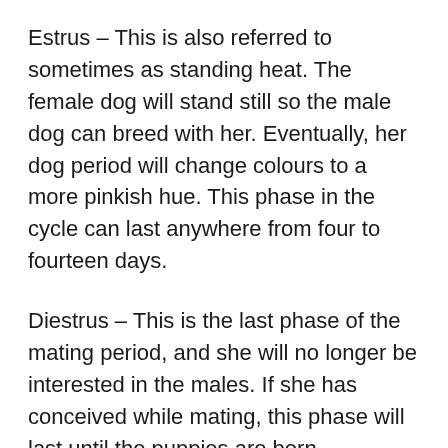Estrus – This is also referred to sometimes as standing heat. The female dog will stand still so the male dog can breed with her. Eventually, her dog period will change colours to a more pinkish hue. This phase in the cycle can last anywhere from four to fourteen days.
Diestrus – This is the last phase of the mating period, and she will no longer be interested in the males. If she has conceived while mating, this phase will last until the puppies are born.
Anestrus – This is the final cycle for your dog in